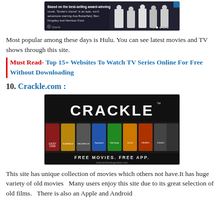[Figure (screenshot): Screenshot of a movie streaming page showing a dark sci-fi film thumbnail with cast text overlay]
Most popular among these days is Hulu. You can see latest movies and TV shows through this site.
Must Read- Top 15+ Websites To Watch TV Series Online For Free Without Downloading
10. Crackle.com :
[Figure (screenshot): Crackle.com advertisement banner showing logo, movie posters row, and text FREE MOVIES. FREE APP. www.technologyraise.com]
This site has unique collection of movies which others not have.It has huge variety of old movies  Many users enjoy this site due to its great selection of old films.  There is also an Apple and Android